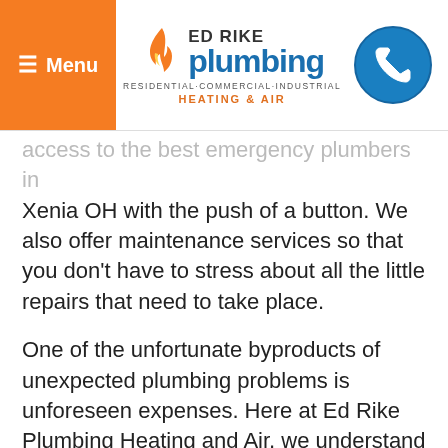[Figure (logo): Ed Rike Plumbing Heating & Air logo with flame icon, company name in blue, tagline RESIDENTIAL·COMMERCIAL·INDUSTRIAL, and HEATING & AIR in orange]
access to the best emergency plumbers in Xenia OH with the push of a button. We also offer maintenance services so that you don't have to stress about all the little repairs that need to take place.
One of the unfortunate byproducts of unexpected plumbing problems is unforeseen expenses. Here at Ed Rike Plumbing Heating and Air, we understand that finances can make a stressful situation even worse. That's why our Xenia emergency plumbers make every effort to keep our services affordable and fair.